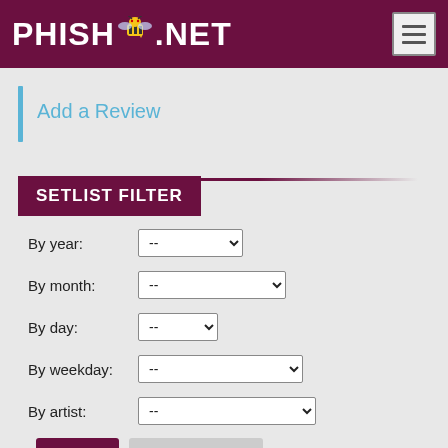PHISH.NET
Add a Review
SETLIST FILTER
By year: --
By month: --
By day: --
By weekday: --
By artist: --
Filter   Reset Filters